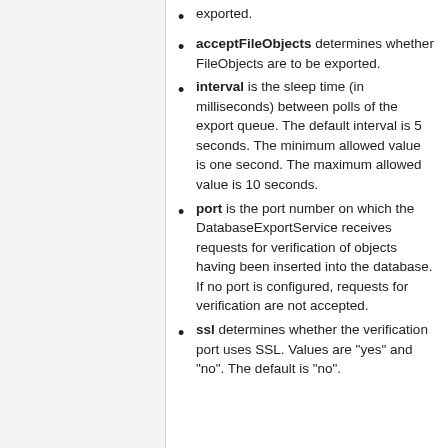exported.
acceptFileObjects determines whether FileObjects are to be exported.
interval is the sleep time (in milliseconds) between polls of the export queue. The default interval is 5 seconds. The minimum allowed value is one second. The maximum allowed value is 10 seconds.
port is the port number on which the DatabaseExportService receives requests for verification of objects having been inserted into the database. If no port is configured, requests for verification are not accepted.
ssl determines whether the verification port uses SSL. Values are "yes" and "no". The default is "no".